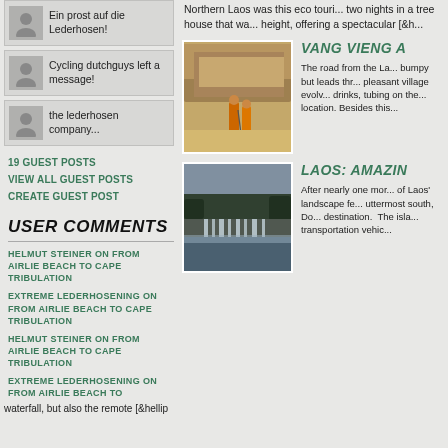Ein prost auf die Lederhosen!
Cycling dutchguys left a message!
the lederhosen company...
19 GUEST POSTS
VIEW ALL GUEST POSTS
CREATE GUEST POST
USER COMMENTS
HELMUT STEINER ON FROM AIRLIE BEACH TO CAPE TRIBULATION
EXTREME LEDERHOSENING ON FROM AIRLIE BEACH TO CAPE TRIBULATION
HELMUT STEINER ON FROM AIRLIE BEACH TO CAPE TRIBULATION
EXTREME LEDERHOSENING ON FROM AIRLIE BEACH TO
Northern Laos was this eco tour... two nights in a tree house that wa... height, offering a spectacular [&h...
[Figure (photo): Two monks in orange robes walking along a sandy path beside a rocky hill]
VANG VIENG A
The road from the La... bumpy but leads thr... pleasant village evolv... drinks, tubing on the... location. Besides this...
[Figure (photo): Wide waterfall cascading over rocks with trees in background]
LAOS: AMAZIN
After nearly one mor... of Laos' landscape fe... uttermost south, Do... destination. The isla... transportation vehic...
waterfall, but also the remote [&hellip